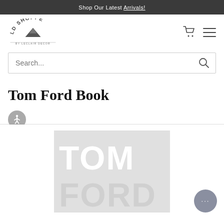Shop Our Latest Arrivals!
[Figure (logo): LD Shoppe by LeClair Decor logo with mountain icon]
Search...
Tom Ford Book
[Figure (photo): Tom Ford Book product image showing large TOM FORD text on light gray background]